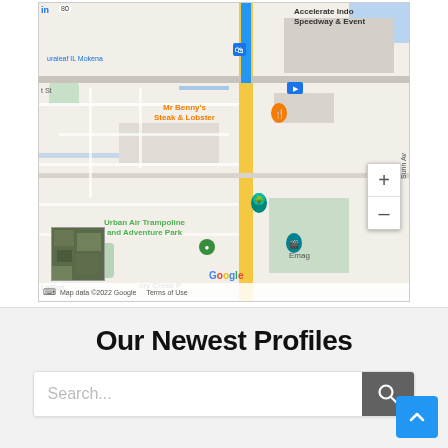[Figure (map): Google Maps screenshot showing Mokena, IL area with locations including Mr Benny's Steak & Lobster, Urban Air Trampoline and Adventure Park, Accelerate Indoor Speedway & Events. Blue route highlighted. Map data ©2022 Google.]
Our Newest Profiles
Search...